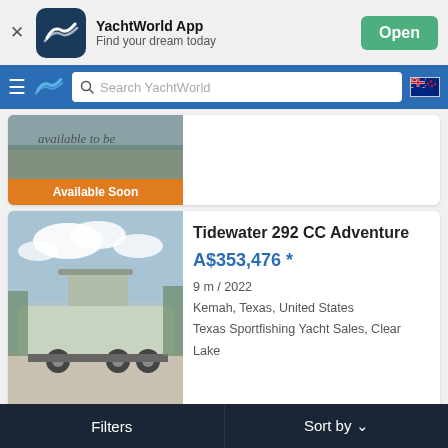[Figure (screenshot): YachtWorld app banner with logo, app name, tagline, and Open button]
[Figure (screenshot): YachtWorld navigation bar with hamburger menu, logo, search field, and NZ flag]
[Figure (photo): Partial boat listing card with Available Soon orange banner]
Tidewater 292 CC Adventure
A$353,476 *
9 m / 2022
Kemah, Texas, United States
Texas Sportfishing Yacht Sales, Clear Lake
[Figure (photo): Partial bottom listing card showing Tidewater 292 CC text]
Filters
Sort by